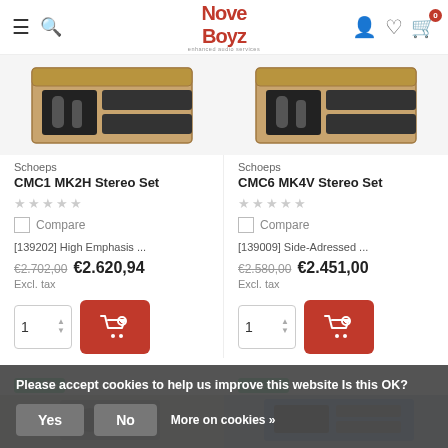Nove Boyz — enhanced audio services
[Figure (screenshot): Product listing page showing two Schoeps microphone stereo sets in wooden boxes]
Schoeps
CMC1 MK2H Stereo Set
[139202] High Emphasis ...
€2.702,00  €2.620,94
Excl. tax
Schoeps
CMC6 MK4V Stereo Set
[139009] Side-Adressed ...
€2.580,00  €2.451,00
Excl. tax
Please accept cookies to help us improve this website Is this OK?